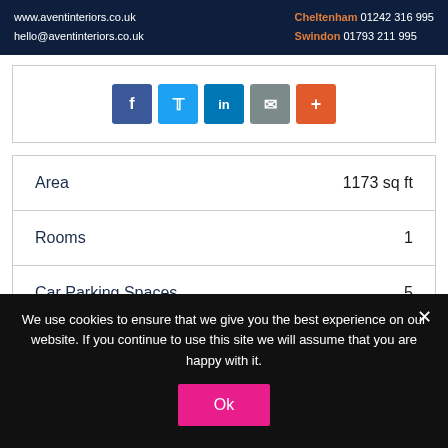www.aventinteriors.co.uk | hello@aventinteriors.co.uk | Cheltenham 01242 316 995 | Swindon 01793 211 995
[Figure (infographic): Social share buttons: Facebook, Twitter, LinkedIn, Email, Plus]
| Property | Value |
| --- | --- |
| Area | 1173 sq ft |
| Rooms | 1 |
| Car Parking Spaces | 5 |
We use cookies to ensure that we give you the best experience on our website. If you continue to use this site we will assume that you are happy with it.